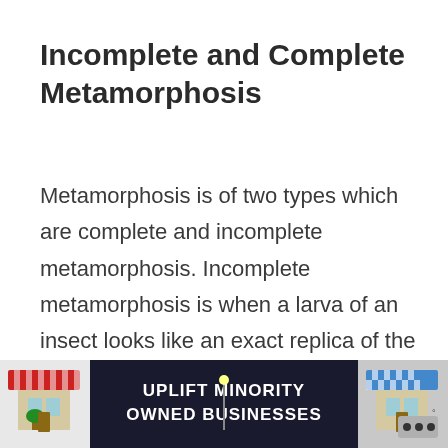Incomplete and Complete Metamorphosis
Metamorphosis is of two types which are complete and incomplete metamorphosis. Incomplete metamorphosis is when a larva of an insect looks like an exact replica of the adult but only smaller.
This is common with cockroaches,
[Figure (other): Advertisement banner: UPLIFT MINORITY OWNED BUSINESSES with store illustrations on left and right sides]